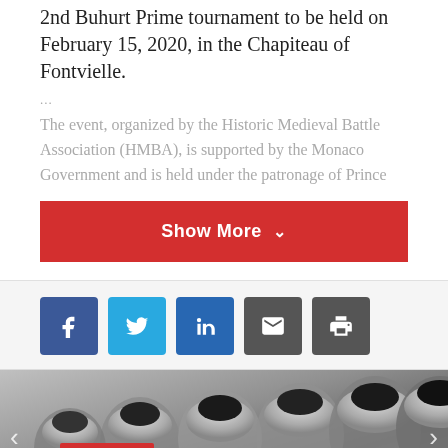2nd Buhurt Prime tournament to be held on February 15, 2020, in the Chapiteau of Fontvielle.
The event, organized by the Historic Medieval Battle Association (HMBA), is supported by the Monaco Government and is held under the patronage of Prince
Show More
[Figure (infographic): Social share buttons: Facebook (blue), Twitter (light blue), LinkedIn (dark blue), Email (dark gray), Print (dark gray)]
[Figure (photo): Black and white photo of medicine vials/bottles seen from above, with Latest news badge and date 22 August, 2022]
Latest news
22 August, 2022